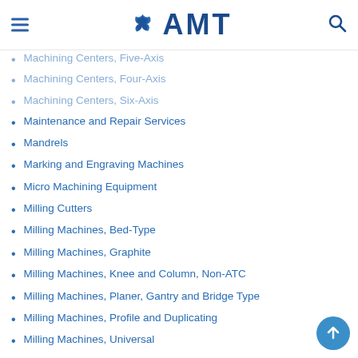AMT logo header with navigation
Machining Centers, Five-Axis
Machining Centers, Four-Axis
Machining Centers, Six-Axis
Maintenance and Repair Services
Mandrels
Marking and Engraving Machines
Micro Machining Equipment
Milling Cutters
Milling Machines, Bed-Type
Milling Machines, Graphite
Milling Machines, Knee and Column, Non-ATC
Milling Machines, Planer, Gantry and Bridge Type
Milling Machines, Profile and Duplicating
Milling Machines, Universal
Pallet Changers/Shuttles and Programmable Transfer Devices
Pedestal Type Fixtures and Tombstone Blocks
Plasma-Arc/Plasma Cutting Machines
Plastic Injection Molding Machines
Plastic-Working Equipment
Productivity Seminars
Prototyping, Stereolithography Machines
Rapid Manufacturing Equipment